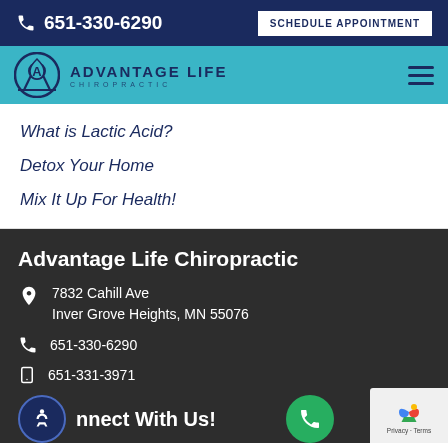651-330-6290 | SCHEDULE APPOINTMENT
[Figure (logo): Advantage Life Chiropractic logo with circular A symbol and teal navigation bar with hamburger menu]
What is Lactic Acid?
Detox Your Home
Mix It Up For Health!
Advantage Life Chiropractic
7832 Cahill Ave
Inver Grove Heights, MN 55076
651-330-6290
651-331-3971
Connect With Us!